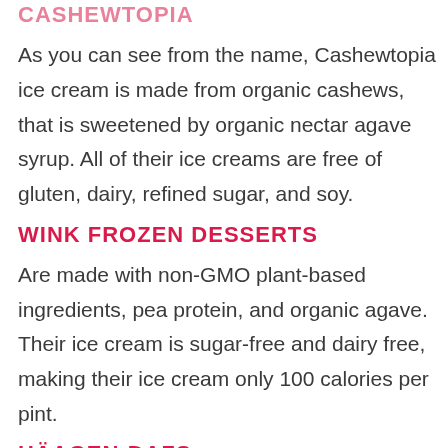CASHEWTOPIA
As you can see from the name, Cashewtopia ice cream is made from organic cashews, that is sweetened by organic nectar agave syrup. All of their ice creams are free of gluten, dairy, refined sugar, and soy.
WINK FROZEN DESSERTS
Are made with non-GMO plant-based ingredients, pea protein, and organic agave. Their ice cream is sugar-free and dairy free, making their ice cream only 100 calories per pint.
HÄAGEN-DAZS